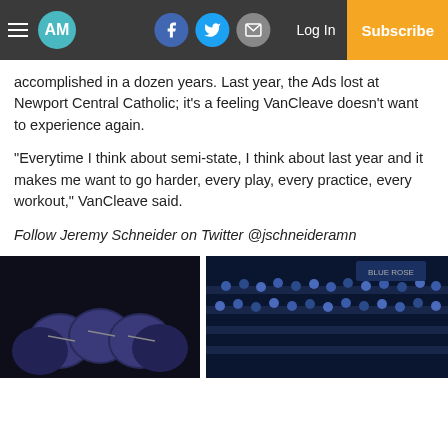AM — Navigation bar with hamburger, logo, social icons (Facebook, Twitter, Email), Log In, Subscribe
accomplished in a dozen years. Last year, the Ads lost at Newport Central Catholic; it's a feeling VanCleave doesn't want to experience again.
“Everytime I think about semi-state, I think about last year and it makes me want to go harder, every play, every practice, every workout,” VanCleave said.
Follow Jeremy Schneider on Twitter @jschneideramn
[Figure (photo): Two photos side by side: left shows football players in dark helmets huddled together in a dark setting; right shows crowd/spectators in bleachers with blue and dark tones.]